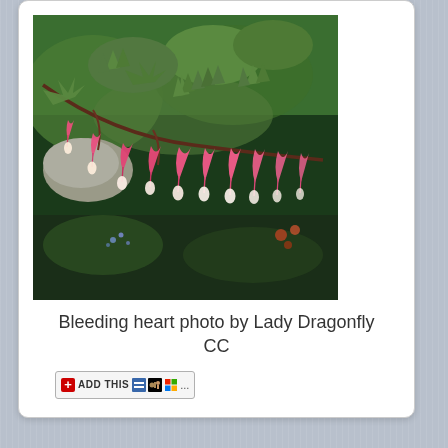[Figure (photo): Photograph of bleeding heart flowers (Lamprocapnos spectabilis) with pink heart-shaped drooping blooms hanging from arching stems, with green maple-like foliage in the background and a garden setting.]
Bleeding heart photo by Lady Dragonfly CC
[Figure (other): AddThis social sharing button widget with red plus icon, ADD THIS label, and small social media icons (del.icio.us, Digg, Windows, and more)]